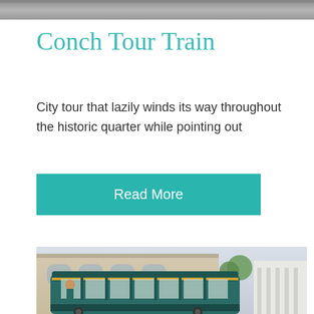[Figure (photo): Gray/dark banner image at the top of the page]
Conch Tour Train
City tour that lazily winds its way throughout the historic quarter while pointing out
Read More
[Figure (photo): Photo of a teal/green conch tour train trolley in front of historic Key West buildings with arched windows and white columns]